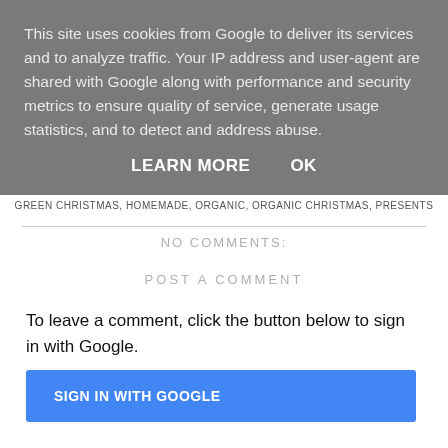This site uses cookies from Google to deliver its services and to analyze traffic. Your IP address and user-agent are shared with Google along with performance and security metrics to ensure quality of service, generate usage statistics, and to detect and address abuse.
LEARN MORE    OK
GREEN CHRISTMAS, HOMEMADE, ORGANIC, ORGANIC CHRISTMAS, PRESENTS
NO COMMENTS:
POST A COMMENT
To leave a comment, click the button below to sign in with Google.
SIGN IN WITH GOOGLE